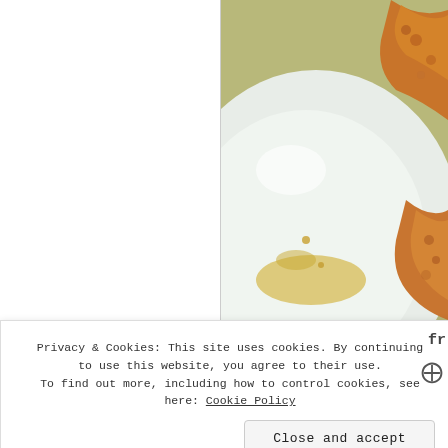[Figure (photo): A white plate or bowl with some fried food (golden-brown crispy pieces) and yellow liquid/sauce visible, photographed close-up. Occupies the right column of the page.]
Privacy & Cookies: This site uses cookies. By continuing to use this website, you agree to their use. To find out more, including how to control cookies, see here: Cookie Policy
Close and accept